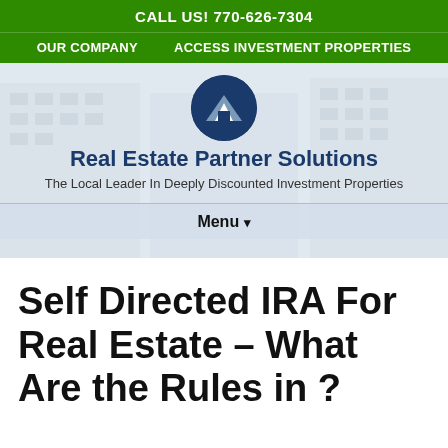CALL US! 770-626-7304
OUR COMPANY   ACCESS INVESTMENT PROPERTIES
[Figure (logo): Real Estate Partner Solutions logo: dark blue circle with white house/mountain silhouette]
Real Estate Partner Solutions
The Local Leader In Deeply Discounted Investment Properties
Menu ▾
Self Directed IRA For Real Estate – What Are the Rules in ?